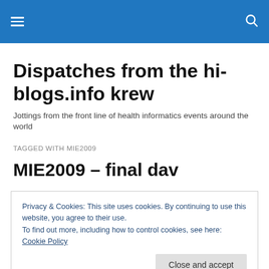Dispatches from the hi-blogs.info krew
Jottings from the front line of health informatics events around the world
TAGGED WITH MIE2009
MIE2009 – final dav
Privacy & Cookies: This site uses cookies. By continuing to use this website, you agree to their use.
To find out more, including how to control cookies, see here: Cookie Policy
ended up losing his voice, he told me this morning, I will